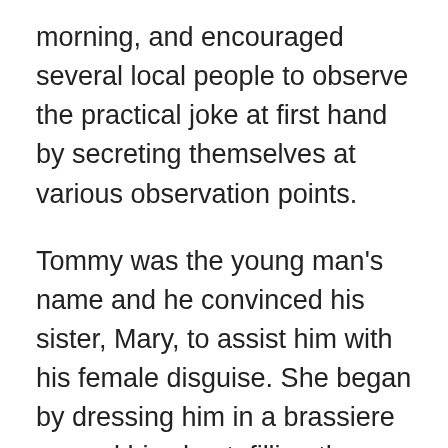morning, and encouraged several local people to observe the practical joke at first hand by secreting themselves at various observation points.
Tommy was the young man's name and he convinced his sister, Mary, to assist him with his female disguise. She began by dressing him in a brassiere around his chest, filling the cups with tissue paper and couple of